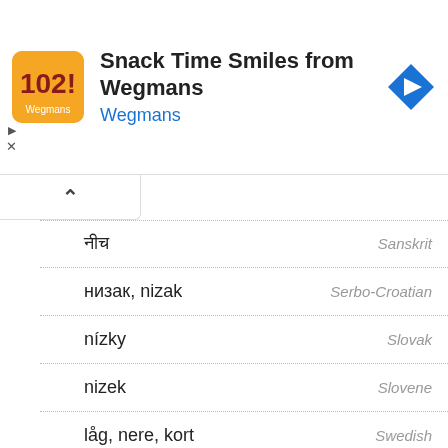[Figure (screenshot): Wegmans Snack Time Smiles app advertisement banner with orange app icon and navigation arrow icon]
नीच — Sanskrit
низак, nizak — Serbo-Croatian
nízky — Slovak
nizek — Slovene
låg, nere, kort — Swedish
ต่ำ — Thai
alçak — Turkmen
alçak, düşük — Turkish